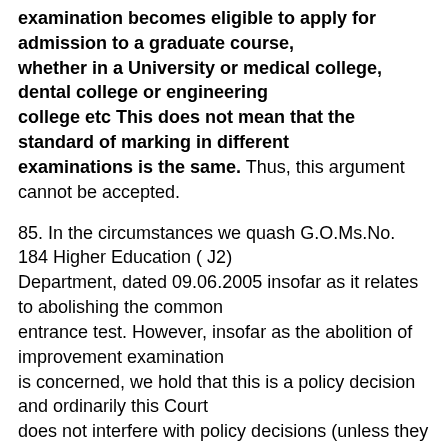examination becomes eligible to apply for admission to a graduate course, whether in a University or medical college, dental college or engineering college etc This does not mean that the standard of marking in different examinations is the same. Thus, this argument cannot be accepted.
85. In the circumstances we quash G.O.Ms.No. 184 Higher Education ( J2) Department, dated 09.06.2005 insofar as it relates to abolishing the common entrance test. However, insofar as the abolition of improvement examination is concerned, we hold that this is a policy decision and ordinarily this Court does not interfere with policy decisions (unless they violate some statute or constitutional provision or is shockingly arbitrary in the Wednesbury sense). We do not see any violation of any statute or constitutional